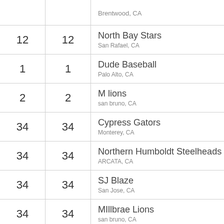|  |  | Team / Location |
| --- | --- | --- |
|  |  | Brentwood, CA |
| 12 | 12 | North Bay Stars
San Rafael, CA |
| 1 | 1 | Dude Baseball
Palo Alto, CA |
| 2 | 2 | M lions
san bruno, CA |
| 34 | 34 | Cypress Gators
Monterey, CA |
| 34 | 34 | Northern Humboldt Steelheads
ARCATA, CA |
| 34 | 34 | SJ Blaze
San Jose, CA |
| 34 | 34 | MIllbrae Lions
san bruno, CA |
| 34 | 34 | NorCal Scorpions
Roseville, CA |
| 34 | 34 | Campbell Chaos
San Jose, CA |